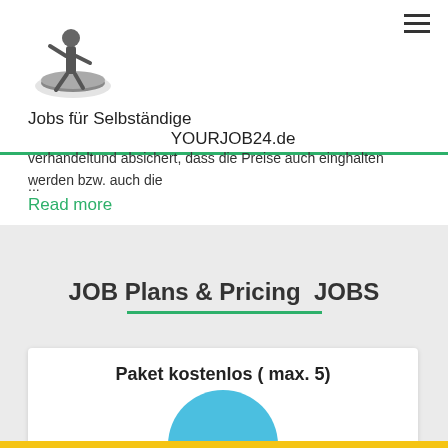[Figure (logo): Warrior/athlete figure logo for YOURJOB24.de]
Jobs für Selbständige
YOURJOB24.de
verhandeltund absichert, dass die Preise auch einghalten werden bzw. auch die
...
Read more
JOB Plans & Pricing  JOBS
Paket kostenlos ( max. 5)